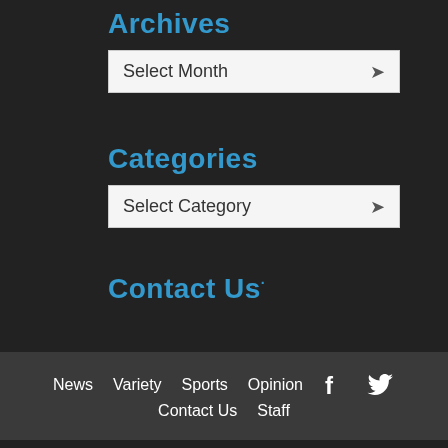Archives
Select Month
Categories
Select Category
Contact Us
News  Variety  Sports  Opinion  Contact Us  Staff